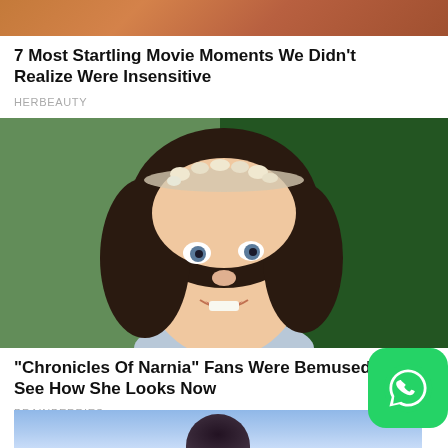[Figure (photo): Partial top image showing warm orange and brown tones, cropped at top of page]
7 Most Startling Movie Moments We Didn't Realize Were Insensitive
HERBEAUTY
[Figure (photo): A young girl with dark curly hair wearing a floral crown/tiara, smiling, in a scene from Chronicles of Narnia]
"Chronicles Of Narnia" Fans Were Bemused To See How She Looks Now
BRAINBERRIES
[Figure (photo): Bottom partial image with blue/purple gradient background and partial view of a person's head]